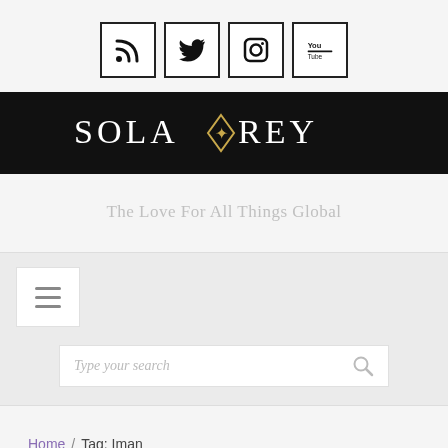[Figure (screenshot): Social media icon buttons (RSS, Twitter, Instagram, YouTube) in square bordered boxes]
[Figure (logo): SOLA REY logo on black banner with gold ornamental diamond emblem between the words]
The Love For All Things Global
[Figure (screenshot): Navigation bar with hamburger menu icon in white box]
[Figure (screenshot): Search bar with placeholder text 'Type your search' and search icon]
Home / Tag: Iman